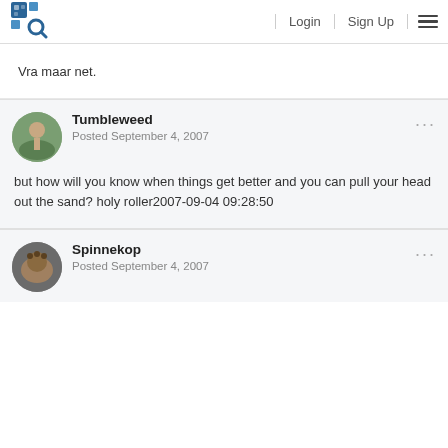Login  Sign Up
Vra maar net.
Tumbleweed
Posted September 4, 2007
but how will you know when things get better and you can pull your head out the sand? holy roller2007-09-04 09:28:50
Spinnekop
Posted September 4, 2007